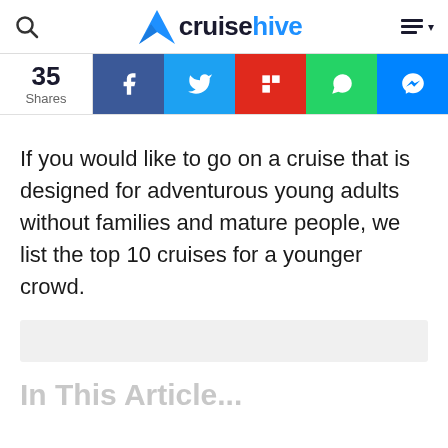cruisehive
[Figure (infographic): Social share bar showing 35 shares with Facebook, Twitter, Flipboard, WhatsApp, and Messenger buttons]
If you would like to go on a cruise that is designed for adventurous young adults without families and mature people, we list the top 10 cruises for a younger crowd.
In This Article...